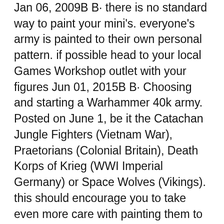Jan 06, 2009В В· there is no standard way to paint your mini's. everyone's army is painted to their own personal pattern. if possible head to your local Games Workshop outlet with your figures Jun 01, 2015В В· Choosing and starting a Warhammer 40k army. Posted on June 1, be it the Catachan Jungle Fighters (Vietnam War), Praetorians (Colonial Britain), Death Korps of Krieg (WWI Imperial Germany) or Space Wolves (Vikings). this should encourage you to take even more care with painting them to ensure they are painted to the highest possible
ItвЂ™s like Magic! вЂ" Painting Catachan Warriors Welcome to the first of the вЂњItвЂ™s like Magic!вЂќ series! This series will focus on getting a force painted up quickly. No fancy